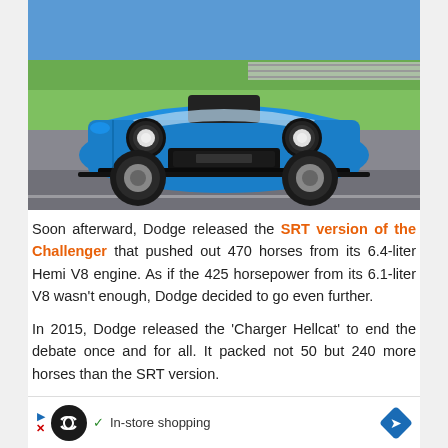[Figure (photo): A blue Dodge Challenger SRT muscle car driving on a race track. The car is photographed from a front three-quarter angle. Green trees and a guardrail are visible in the background.]
Soon afterward, Dodge released the SRT version of the Challenger that pushed out 470 horses from its 6.4-liter Hemi V8 engine. As if the 425 horsepower from its 6.1-liter V8 wasn't enough, Dodge decided to go even further.
In 2015, Dodge released the 'Charger Hellcat' to end the debate once and for all. It packed not 50 but 240 more horses than the SRT version.
[Figure (other): Advertisement bar: infinity loop icon, checkmark, 'In-store shopping' text, blue diamond arrow icon]